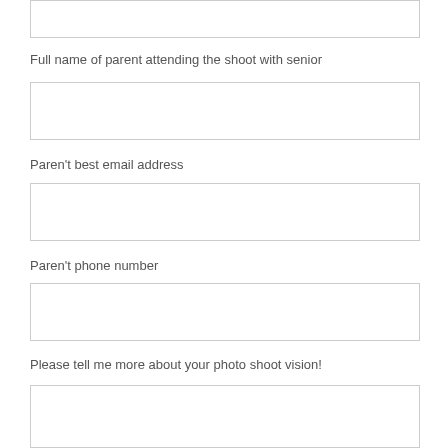[Figure (other): Empty form input box at top of page]
Full name of parent attending the shoot with senior
[Figure (other): Empty form input box for parent full name]
Paren't best email address
[Figure (other): Empty form input box for parent email address]
Paren't phone number
[Figure (other): Empty form input box for parent phone number]
Please tell me more about your photo shoot vision!
[Figure (other): Empty form input box for photo shoot vision]